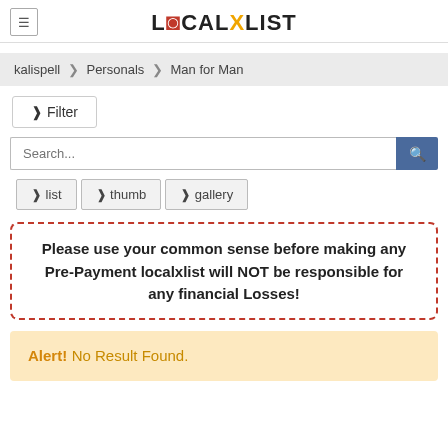LOCALXLIST
kalispell  ❯  Personals  ❯  Man for Man
❯ Filter
Search...
❯ list   ❯ thumb   ❯ gallery
Please use your common sense before making any Pre-Payment localxlist will NOT be responsible for any financial Losses!
Alert! No Result Found.